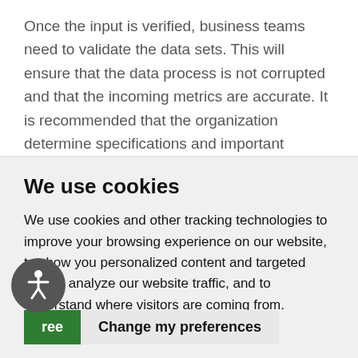Once the input is verified, business teams need to validate the data sets. This will ensure that the data process is not corrupted and that the incoming metrics are accurate. It is recommended that the organization determine specifications and important attributes of data to streamline this step.
We use cookies
We use cookies and other tracking technologies to improve your browsing experience on our website, to show you personalized content and targeted ads, to analyze our website traffic, and to understand where visitors are coming from.
Agree   Change my preferences